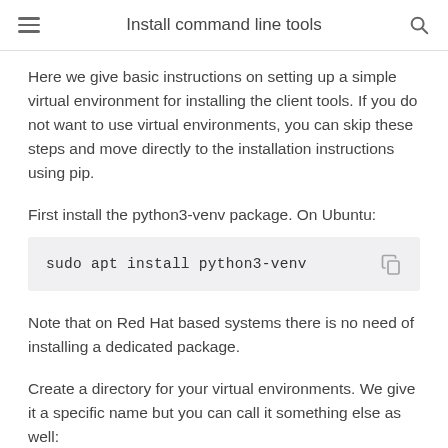Install command line tools
Here we give basic instructions on setting up a simple virtual environment for installing the client tools. If you do not want to use virtual environments, you can skip these steps and move directly to the installation instructions using pip.
First install the python3-venv package. On Ubuntu:
Note that on Red Hat based systems there is no need of installing a dedicated package.
Create a directory for your virtual environments. We give it a specific name but you can call it something else as well: